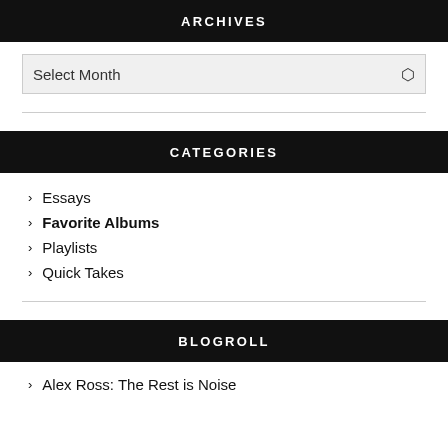ARCHIVES
Select Month
CATEGORIES
Essays
Favorite Albums
Playlists
Quick Takes
BLOGROLL
Alex Ross: The Rest is Noise